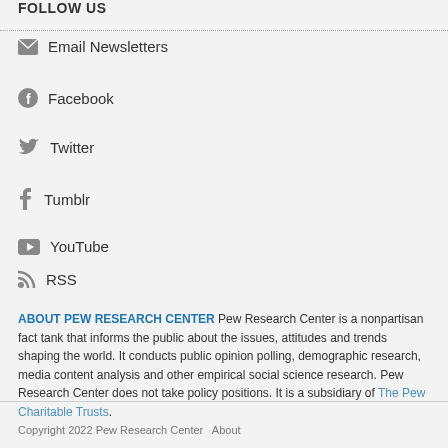FOLLOW US
Email Newsletters
Facebook
Twitter
Tumblr
YouTube
RSS
ABOUT PEW RESEARCH CENTER Pew Research Center is a nonpartisan fact tank that informs the public about the issues, attitudes and trends shaping the world. It conducts public opinion polling, demographic research, media content analysis and other empirical social science research. Pew Research Center does not take policy positions. It is a subsidiary of The Pew Charitable Trusts.
Copyright 2022 Pew Research Center  About